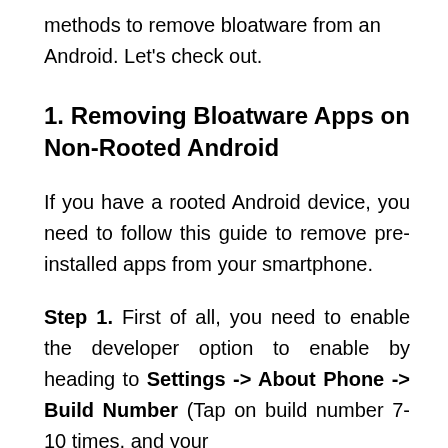methods to remove bloatware from an Android. Let's check out.
1. Removing Bloatware Apps on Non-Rooted Android
If you have a rooted Android device, you need to follow this guide to remove pre-installed apps from your smartphone.
Step 1. First of all, you need to enable the developer option to enable by heading to Settings -> About Phone -> Build Number (Tap on build number 7-10 times, and your